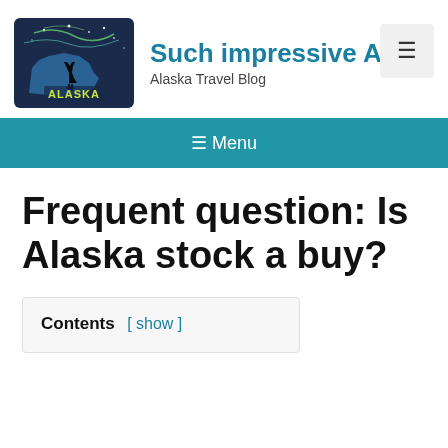Such impressive Alas — Alaska Travel Blog
[Figure (logo): Alaska Travel Blog logo showing Alaska state silhouette with night sky and moose, with 'ALASKA' text in yellow-green]
Frequent question: Is Alaska stock a buy?
Contents [ show ]